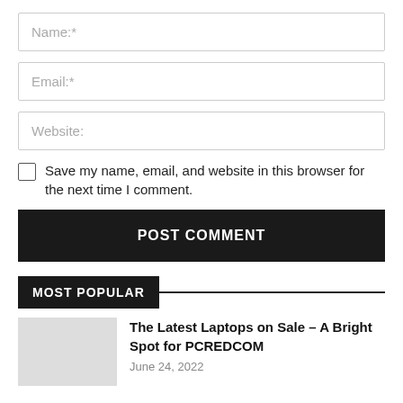Name:*
Email:*
Website:
Save my name, email, and website in this browser for the next time I comment.
POST COMMENT
MOST POPULAR
The Latest Laptops on Sale – A Bright Spot for PCREDCOM
June 24, 2022